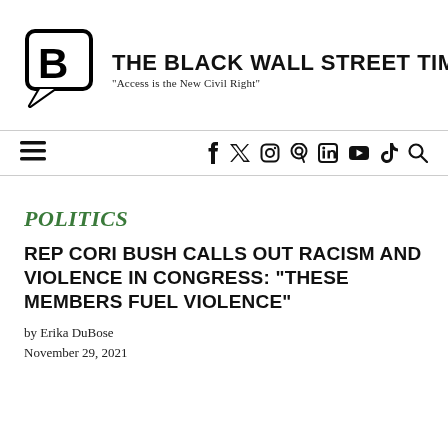[Figure (logo): The Black Wall Street Times logo: speech bubble with letter B icon, bold title text 'THE BLACK WALL STREET TIMES' and tagline '"Access is the New Civil Right"']
≡   f  𝕏  📷  ⓟ  in  ▶  ♪  🔍
POLITICS
REP CORI BUSH CALLS OUT RACISM AND VIOLENCE IN CONGRESS: "THESE MEMBERS FUEL VIOLENCE"
by Erika DuBose
November 29, 2021